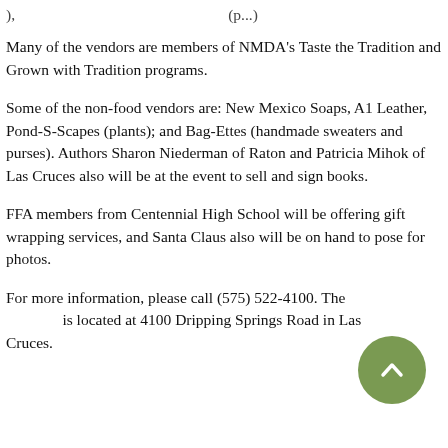), (p...
Many of the vendors are members of NMDA’s Taste the Tradition and Grown with Tradition programs.
Some of the non-food vendors are: New Mexico Soaps, A1 Leather, Pond-S-Scapes (plants); and Bag-Ettes (handmade sweaters and purses). Authors Sharon Niederman of Raton and Patricia Mihok of Las Cruces also will be at the event to sell and sign books.
FFA members from Centennial High School will be offering gift wrapping services, and Santa Claus also will be on hand to pose for photos.
For more information, please call (575) 522-4100. The [program] is located at 4100 Dripping Springs Road in Las Cruces.